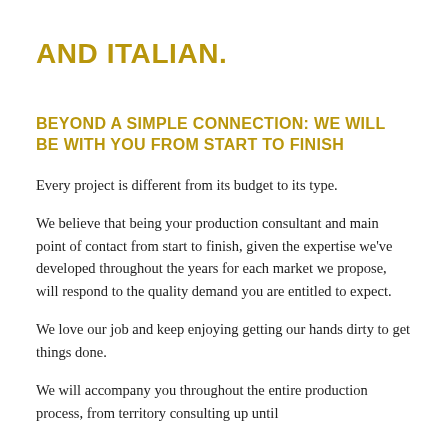AND ITALIAN.
BEYOND A SIMPLE CONNECTION: WE WILL BE WITH YOU FROM START TO FINISH
Every project is different from its budget to its type.
We believe that being your production consultant and main point of contact from start to finish, given the expertise we've developed throughout the years for each market we propose, will respond to the quality demand you are entitled to expect.
We love our job and keep enjoying getting our hands dirty to get things done.
We will accompany you throughout the entire production process, from territory consulting up until product delivery and will be right there with you making